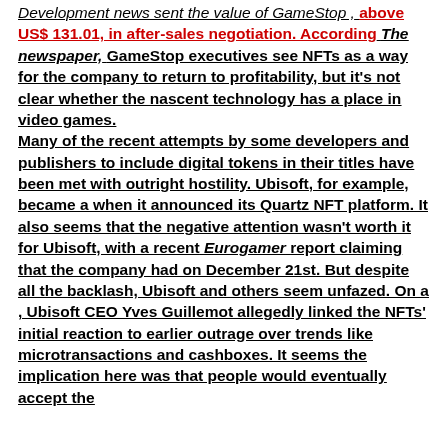Development news sent the value of GameStop , above US$ 131.01, in after-sales negotiation. According The newspaper, GameStop executives see NFTs as a way for the company to return to profitability, but it's not clear whether the nascent technology has a place in video games. Many of the recent attempts by some developers and publishers to include digital tokens in their titles have been met with outright hostility. Ubisoft, for example, became a when it announced its Quartz NFT platform. It also seems that the negative attention wasn't worth it for Ubisoft, with a recent Eurogamer report claiming that the company had on December 21st. But despite all the backlash, Ubisoft and others seem unfazed. On a , Ubisoft CEO Yves Guillemot allegedly linked the NFTs' initial reaction to earlier outrage over trends like microtransactions and cashboxes. It seems the implication here was that people would eventually accept the